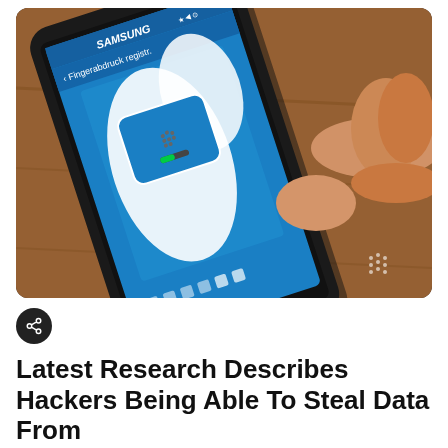[Figure (photo): Close-up photo of a hand holding a Samsung smartphone showing a fingerprint registration screen with the text 'Fingerabdruck registr.' on a blue background. The phone has a fingerprint sensor at the bottom with dots indicating scan progress.]
Latest Research Describes Hackers Being Able To Steal Data From